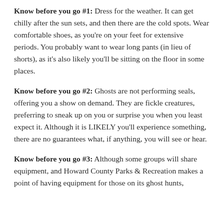Know before you go #1: Dress for the weather. It can get chilly after the sun sets, and then there are the cold spots. Wear comfortable shoes, as you're on your feet for extensive periods. You probably want to wear long pants (in lieu of shorts), as it's also likely you'll be sitting on the floor in some places.
Know before you go #2: Ghosts are not performing seals, offering you a show on demand. They are fickle creatures, preferring to sneak up on you or surprise you when you least expect it. Although it is LIKELY you'll experience something, there are no guarantees what, if anything, you will see or hear.
Know before you go #3: Although some groups will share equipment, and Howard County Parks & Recreation makes a point of having equipment for those on its ghost hunts,